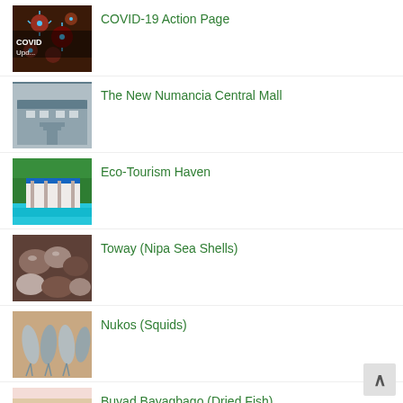COVID-19 Action Page
The New Numancia Central Mall
Eco-Tourism Haven
Toway (Nipa Sea Shells)
Nukos (Squids)
Buyad Bayagbago (Dried Fish)